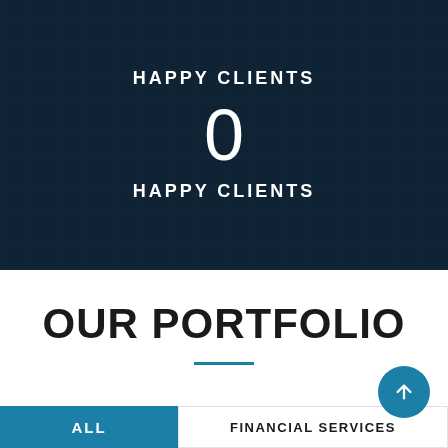HAPPY CLIENTS
0
HAPPY CLIENTS
OUR PORTFOLIO
ALL
FINANCIAL SERVICES